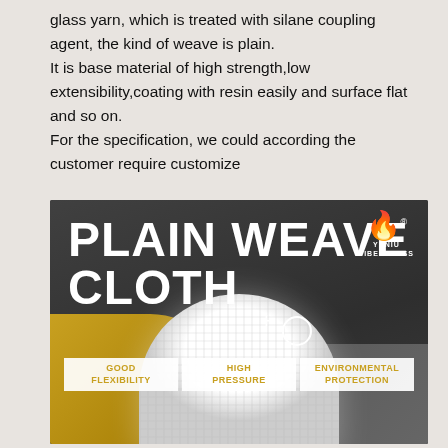glass yarn, which is treated with silane coupling agent, the kind of weave is plain.
It is base material of high strength,low extensibility,coating with resin easily and surface flat and so on.
For the specification, we could according the customer require customize
[Figure (photo): Promotional product image for 'Plain Weave Cloth' by YuNiu Fiberglass. Dark gray background with large white bold text reading 'PLAIN WEAVE CLOTH'. Logo with flame icon top right. Three feature boxes: GOOD FLEXIBILITY, HIGH PRESSURE, ENVIRONMENTAL PROTECTION. Bottom shows a white fiberglass cloth roll with woven texture, gold and gray wave shapes.]